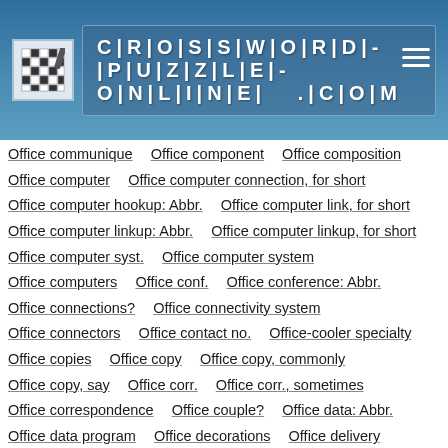CROSSWORD-PUZZLE-ONLINE.COM
Office communique
Office component
Office composition
Office computer
Office computer connection, for short
Office computer hookup: Abbr.
Office computer link, for short
Office computer linkup: Abbr.
Office computer linkup, for short
Office computer syst.
Office computer system
Office computers
Office conf.
Office conference: Abbr.
Office connections?
Office connectivity system
Office connectors
Office contact no.
Office-cooler specialty
Office copies
Office copy
Office copy, commonly
Office copy, say
Office corr.
Office corr., sometimes
Office correspondence
Office couple?
Office data: Abbr.
Office data program
Office decorations
Office delivery
Office Depot's headquarters
Office desk fixture
Office-desk seat
Office device appropriate for this puzzle?
Office dispatches
Office distribution unit
Office div.
Office division: Abbr.
Office document
Office document holder
Office documents
Office dupes
Office dupes, for short
Office e-mail alternatives